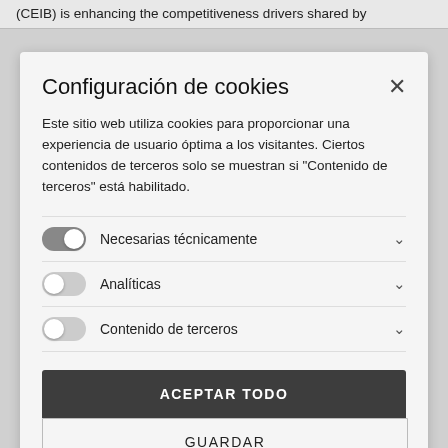(CEIB) is enhancing the competitiveness drivers shared by
Configuración de cookies
Este sitio web utiliza cookies para proporcionar una experiencia de usuario óptima a los visitantes. Ciertos contenidos de terceros solo se muestran si "Contenido de terceros" está habilitado.
Necesarias técnicamente
Analíticas
Contenido de terceros
ACEPTAR TODO
GUARDAR
Más información